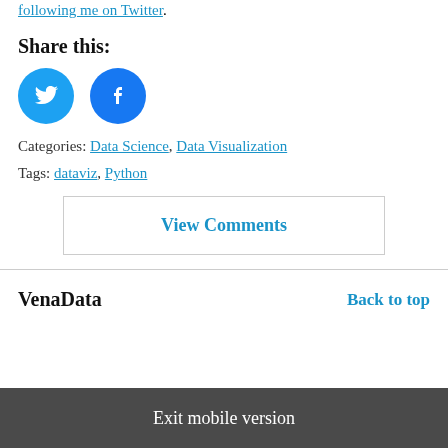following me on Twitter.
Share this:
[Figure (other): Twitter and Facebook social sharing icon buttons (round blue circles with icons)]
Categories: Data Science, Data Visualization
Tags: dataviz, Python
View Comments
VenaData
Back to top
Exit mobile version